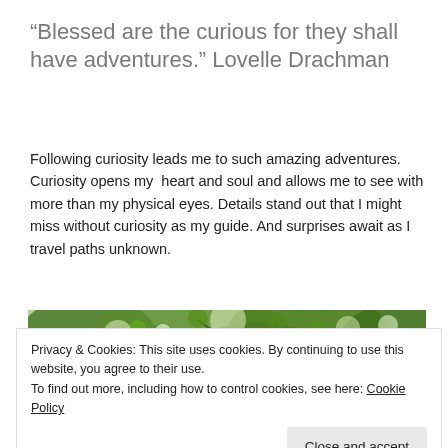“Blessed are the curious for they shall have adventures.” Lovelle Drachman
Following curiosity leads me to such amazing adventures. Curiosity opens my heart and soul and allows me to see with more than my physical eyes. Details stand out that I might miss without curiosity as my guide. And surprises await as I travel paths unknown.
[Figure (photo): Outdoor photo showing green tree leaves and branches against bright light, partially visible]
Privacy & Cookies: This site uses cookies. By continuing to use this website, you agree to their use.
To find out more, including how to control cookies, see here: Cookie Policy
Close and accept